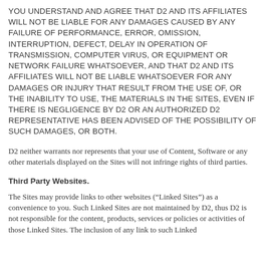YOU UNDERSTAND AND AGREE THAT D2 AND ITS AFFILIATES WILL NOT BE LIABLE FOR ANY DAMAGES CAUSED BY ANY FAILURE OF PERFORMANCE, ERROR, OMISSION, INTERRUPTION, DEFECT, DELAY IN OPERATION OF TRANSMISSION, COMPUTER VIRUS, OR EQUIPMENT OR NETWORK FAILURE WHATSOEVER, AND THAT D2 AND ITS AFFILIATES WILL NOT BE LIABLE WHATSOEVER FOR ANY DAMAGES OR INJURY THAT RESULT FROM THE USE OF, OR THE INABILITY TO USE, THE MATERIALS IN THE SITES, EVEN IF THERE IS NEGLIGENCE BY D2 OR AN AUTHORIZED D2 REPRESENTATIVE HAS BEEN ADVISED OF THE POSSIBILITY OF SUCH DAMAGES, OR BOTH.
D2 neither warrants nor represents that your use of Content, Software or any other materials displayed on the Sites will not infringe rights of third parties.
Third Party Websites.
The Sites may provide links to other websites (“Linked Sites”) as a convenience to you. Such Linked Sites are not maintained by D2, thus D2 is not responsible for the content, products, services or policies or activities of those Linked Sites. The inclusion of any link to such Linked Sites does not imply endorsement by D2 of the Linked Sites.